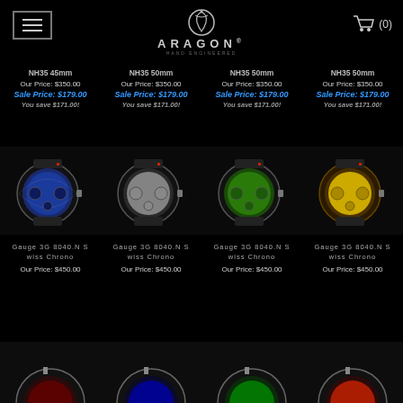ARAGON — Menu, Logo, Cart (0)
NH35 45mm
Our Price: $350.00
Sale Price: $179.00
You save $171.00!
NH35 50mm
Our Price: $350.00
Sale Price: $179.00
You save $171.00!
NH35 50mm
Our Price: $350.00
Sale Price: $179.00
You save $171.00!
NH35 50mm
Our Price: $350.00
Sale Price: $179.00
You save $171.00!
[Figure (photo): Watch with blue dial]
[Figure (photo): Watch with grey dial]
[Figure (photo): Watch with green dial]
[Figure (photo): Watch with yellow dial]
Gauge 3G 8040.N S wiss Chrono
Our Price: $450.00
Gauge 3G 8040.N S wiss Chrono
Our Price: $450.00
Gauge 3G 8040.N S wiss Chrono
Our Price: $450.00
Gauge 3G 8040.N S wiss Chrono
Our Price: $450.00
[Figure (photo): Partial watch image bottom row left]
[Figure (photo): Partial watch image bottom row 2]
[Figure (photo): Partial watch image bottom row 3]
[Figure (photo): Partial watch image bottom row right]